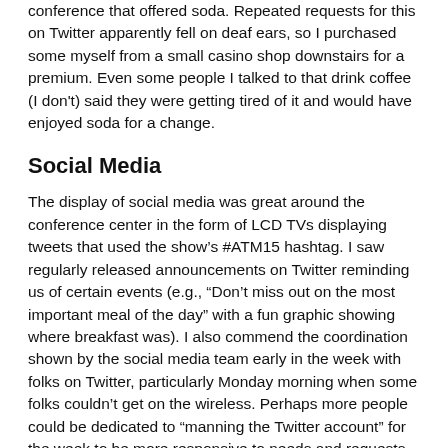conference that offered soda. Repeated requests for this on Twitter apparently fell on deaf ears, so I purchased some myself from a small casino shop downstairs for a premium. Even some people I talked to that drink coffee (I don't) said they were getting tired of it and would have enjoyed soda for a change.
Social Media
The display of social media was great around the conference center in the form of LCD TVs displaying tweets that used the show's #ATM15 hashtag. I saw regularly released announcements on Twitter reminding us of certain events (e.g., “Don’t miss out on the most important meal of the day” with a fun graphic showing where breakfast was). I also commend the coordination shown by the social media team early in the week with folks on Twitter, particularly Monday morning when some folks couldn’t get on the wireless. Perhaps more people could be dedicated to “manning the Twitter account” for the week to be more responsive to needs and requests of attendees.
Another comment on social media is that...